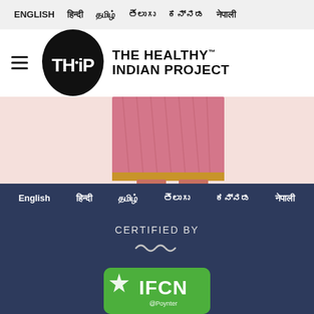ENGLISH  हिन्दी  தமிழ்  తెలుగు  ಕನ್ನಡ  नेपाली
[Figure (logo): THiP - The Healthy Indian Project logo. Black rounded shape with THiP text in white, beside bold text reading THE HEALTHY™ INDIAN PROJECT]
[Figure (photo): Lower half of a woman wearing a pink saree with gold border and black sandals, standing on a light pink background]
English  हिन्दी  தமிழ்  తెలుగు  ಕನ್ನಡ  नेपाली
CERTIFIED BY
[Figure (logo): IFCN @Poynter green badge/logo — International Fact-Checking Network certification badge]